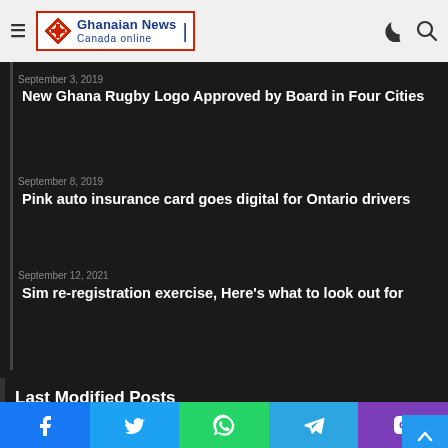Ghanaian News Canada online
September 3, 2019
New Ghana Rugby Logo Approved by Board in Four Cities
September 8, 2019
Pink auto insurance card goes digital for Ontario drivers
September 12, 2021
Sim re-registration exercise, Here’s what to look out for
Last Modified Posts
[Figure (photo): Man in red hat speaking at microphone]
[Figure (photo): Two men in suits standing together outdoors]
[Figure (photo): Two young men walking near a vehicle]